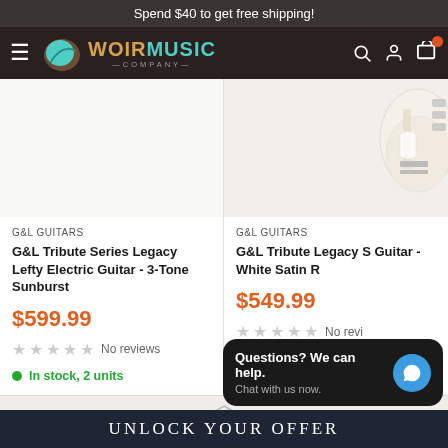Spend $40 to get free shipping!
[Figure (logo): Woir Music Company logo with hamburger menu and nav icons]
[Figure (photo): Product image area for G&L Tribute Series Legacy Lefty Electric Guitar - 3-Tone Sunburst]
G&L GUITARS
G&L Tribute Series Legacy Lefty Electric Guitar - 3-Tone Sunburst
$599.99
No reviews
In stock, 2 units
[Figure (photo): Product image area for G&L Tribute Legacy S Guitar - White Satin (partially visible)]
G&L GUITARS
G&L Tribute Legacy S Guitar - White Satin R
$549.99
No revi...
Only 1 unit left
Questions? We can help. Chat with us now.
UNLOCK YOUR OFFER